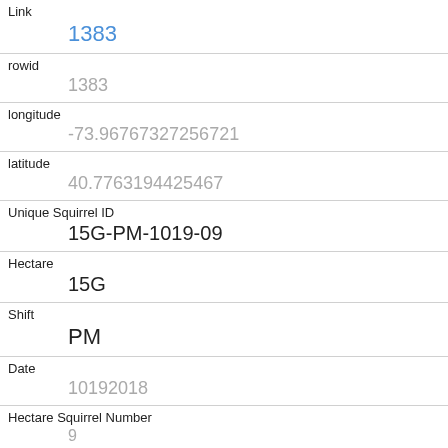| Field | Value |
| --- | --- |
| Link | 1383 |
| rowid | 1383 |
| longitude | -73.96767327256721 |
| latitude | 40.7763194425467 |
| Unique Squirrel ID | 15G-PM-1019-09 |
| Hectare | 15G |
| Shift | PM |
| Date | 10192018 |
| Hectare Squirrel Number | 9 |
| Age | Adult |
| Primary Fur Color |  |